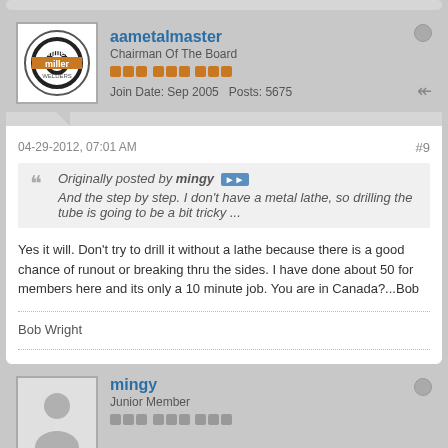aametalmaster
Chairman Of The Board
Join Date: Sep 2005   Posts: 5675
04-29-2012, 07:01 AM
#9
Originally posted by mingy
And the step by step. I don't have a metal lathe, so drilling the tube is going to be a bit tricky ...
Yes it will. Don't try to drill it without a lathe because there is a good chance of runout or breaking thru the sides. I have done about 50 for members here and its only a 10 minute job. You are in Canada?...Bob
Bob Wright
mingy
Junior Member